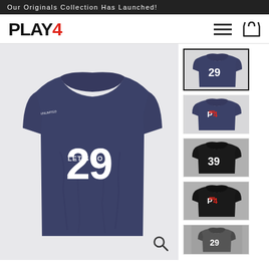Our Originals Collection Has Launched!
[Figure (logo): PLAY4 logo with red 4, hamburger menu icon and cart icon navigation]
[Figure (photo): Large navy blue t-shirt with white '29' number and 'LET'S GO' text on chest, small sleeve text, product main image]
[Figure (photo): Thumbnail 1: Navy t-shirt with '29' - currently selected with black border]
[Figure (photo): Thumbnail 2: Navy t-shirt with PLAY4 logo graphic]
[Figure (photo): Thumbnail 3: Black t-shirt with '39' number]
[Figure (photo): Thumbnail 4: Black t-shirt with PLAY4 logo graphic]
[Figure (photo): Thumbnail 5: Charcoal/grey t-shirt with '29' number (partially visible)]